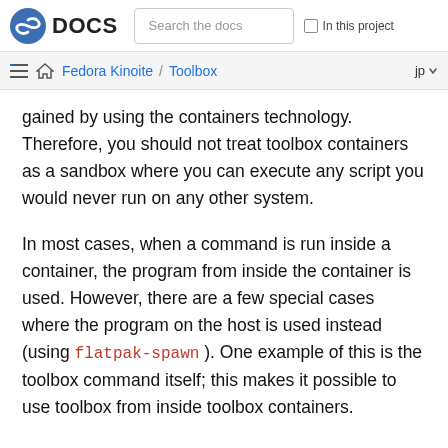DOCS | Search the docs | In this project
Fedora Kinoite / Toolbox  jp
gained by using the containers technology. Therefore, you should not treat toolbox containers as a sandbox where you can execute any script you would never run on any other system.
In most cases, when a command is run inside a container, the program from inside the container is used. However, there are a few special cases where the program on the host is used instead (using flatpak-spawn ). One example of this is the toolbox command itself; this makes it possible to use toolbox from inside toolbox containers.